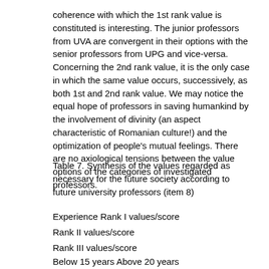coherence with which the 1st rank value is constituted is interesting. The junior professors from UVA are convergent in their options with the senior professors from UPG and vice-versa. Concerning the 2nd rank value, it is the only case in which the same value occurs, successively, as both 1st and 2nd rank value. We may notice the equal hope of professors in saving humankind by the involvement of divinity (an aspect characteristic of Romanian culture!) and the optimization of people's mutual feelings. There are no axiological tensions between the value options of the categories of investigated professors.
Table 7. Synthesis of the values regarded as necessary for the future society according to future university professors (item 8)
Experience Rank I values/score
Rank II values/score
Rank III values/score
Below 15 years Above 20 years